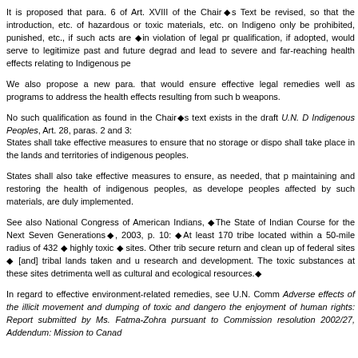It is proposed that para. 6 of Art. XVIII of the Chair◆s Text be revised, so that the introduction, etc. of hazardous or toxic materials, etc. on Indigeno... only be prohibited, punished, etc., if such acts are ◆in violation of legal pr... qualification, if adopted, would serve to legitimize past and future degrad... and lead to severe and far-reaching health effects relating to Indigenous pe...
We also propose a new para. that would ensure effective legal remedies ... well as programs to address the health effects resulting from such ... weapons.
No such qualification as found in the Chair◆s text exists in the draft U.N. D... Indigenous Peoples, Art. 28, paras. 2 and 3:
States shall take effective measures to ensure that no storage or dispo... shall take place in the lands and territories of indigenous peoples.
States shall also take effective measures to ensure, as needed, that p... maintaining and restoring the health of indigenous peoples, as develope... peoples affected by such materials, are duly implemented.
See also National Congress of American Indians, ◆The State of Indian ... Course for the Next Seven Generations◆, 2003, p. 10: ◆At least 170 tribe... located within a 50-mile radius of 432 ◆ highly toxic ◆ sites. Other trib... secure return and clean up of federal sites ◆ [and] tribal lands taken and u... research and development. The toxic substances at these sites detrimenta... well as cultural and ecological resources.◆
In regard to effective environment-related remedies, see U.N. Comm... Adverse effects of the illicit movement and dumping of toxic and dangero... the enjoyment of human rights: Report submitted by Ms. Fatma-Zohra ... pursuant to Commission resolution 2002/27, Addendum: Mission to Canad...